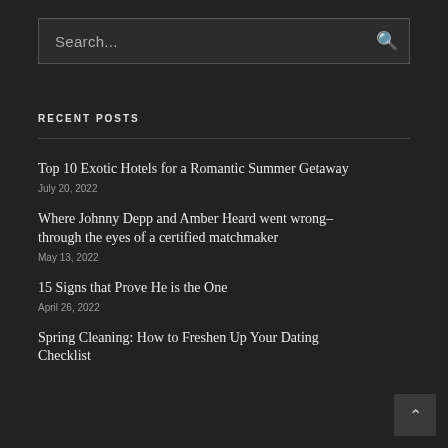Search...
RECENT POSTS
Top 10 Exotic Hotels for a Romantic Summer Getaway
July 20, 2022
Where Johnny Depp and Amber Heard went wrong–through the eyes of a certified matchmaker
May 13, 2022
15 Signs that Prove He is the One
April 26, 2022
Spring Cleaning: How to Freshen Up Your Dating Checklist